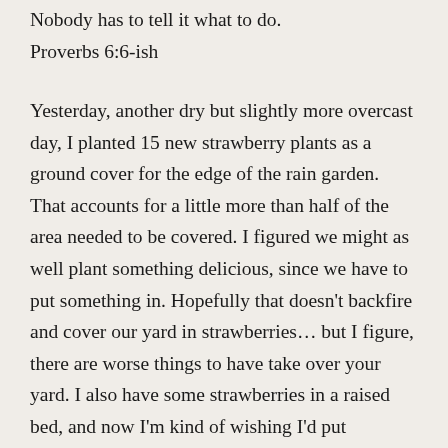Nobody has to tell it what to do.
Proverbs 6:6-ish
Yesterday, another dry but slightly more overcast day, I planted 15 new strawberry plants as a ground cover for the edge of the rain garden. That accounts for a little more than half of the area needed to be covered. I figured we might as well plant something delicious, since we have to put something in. Hopefully that doesn't backfire and cover our yard in strawberries… but I figure, there are worse things to have take over your yard. I also have some strawberries in a raised bed, and now I'm kind of wishing I'd put something else there. Maybe I should do some other food, like lettuces or